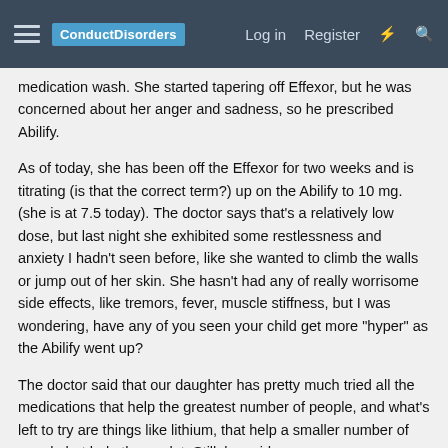ConductDisorders  Log in  Register
medication wash. She started tapering off Effexor, but he was concerned about her anger and sadness, so he prescribed Abilify.
As of today, she has been off the Effexor for two weeks and is titrating (is that the correct term?) up on the Abilify to 10 mg. (she is at 7.5 today). The doctor says that's a relatively low dose, but last night she exhibited some restlessness and anxiety I hadn't seen before, like she wanted to climb the walls or jump out of her skin. She hasn't had any of really worrisome side effects, like tremors, fever, muscle stiffness, but I was wondering, have any of you seen your child get more "hyper" as the Abilify went up?
The doctor said that our daughter has pretty much tried all the medications that help the greatest number of people, and what's left to try are things like lithium, that help a smaller number of people but help them a lot. Still, he said